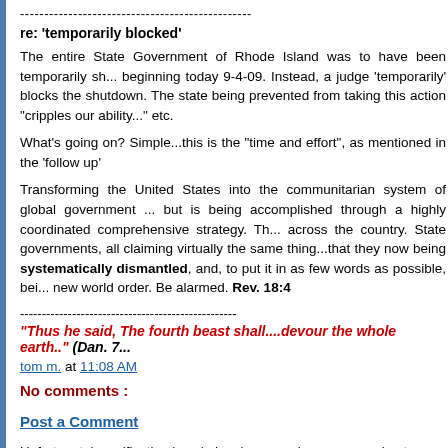------------------------------------------------
re: 'temporarily blocked'
The entire State Government of Rhode Island was to have been temporarily sh... beginning today 9-4-09. Instead, a judge 'temporarily' blocks the shutdown. The state being prevented from taking this action "cripples our ability..." etc.
What's going on? Simple...this is the "time and effort", as mentioned in the 'follow up'
Transforming the United States into the communitarian system of global government ... but is being accomplished through a highly coordinated comprehensive strategy. Th... across the country. State governments, all claiming virtually the same thing...that they now being systematically dismantled, and, to put it in as few words as possible, bei... new world order. Be alarmed. Rev. 18:4
--------------------------------------------------
"Thus he said, The fourth beast shall....devour the whole earth.." (Dan. 7:...
tom m. at 11:08 AM
No comments :
Post a Comment
Unfortunately verification hassle has been made necessary due to infestatio... AVRev. 18:4